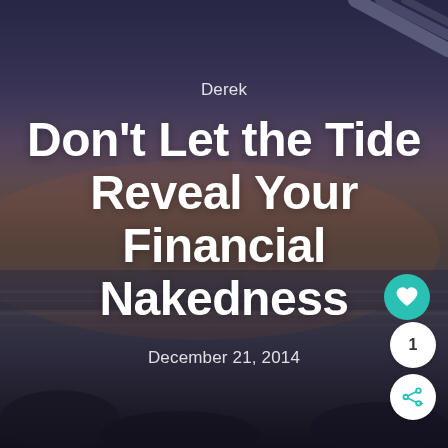[Figure (photo): Beach/ocean scene at dusk or dawn with a blurred background showing waves, rocks, and a colorful sky transitioning from blue-purple at top to warm orange-brown tones in the middle and dark at the bottom. Semi-transparent dark overlay applied.]
Derek
Don't Let the Tide Reveal Your Financial Nakedness
December 21, 2014